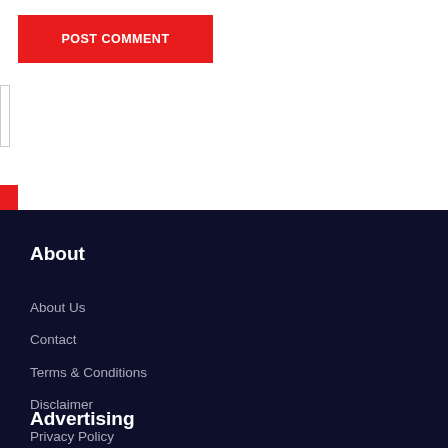POST COMMENT
About
About Us
Contact
Terms & Conditions
Disclaimer
Privacy Policy
Advertising